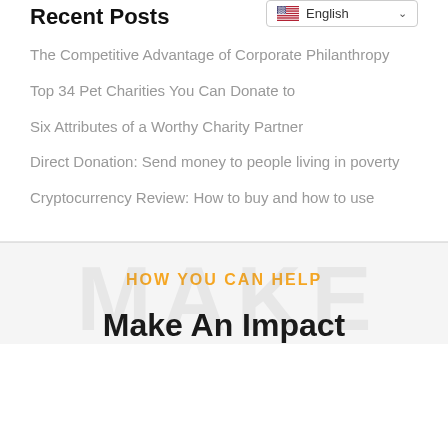Recent Posts
The Competitive Advantage of Corporate Philanthropy
Top 34 Pet Charities You Can Donate to
Six Attributes of a Worthy Charity Partner
Direct Donation: Send money to people living in poverty
Cryptocurrency Review: How to buy and how to use
HOW YOU CAN HELP
Make An Impact